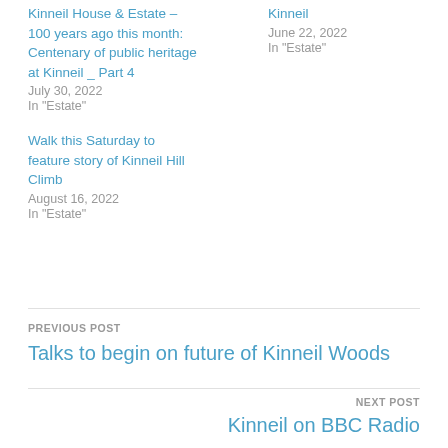Kinneil House & Estate – 100 years ago this month: Centenary of public heritage at Kinneil _ Part 4
July 30, 2022
In "Estate"
Kinneil
June 22, 2022
In "Estate"
Walk this Saturday to feature story of Kinneil Hill Climb
August 16, 2022
In "Estate"
PREVIOUS POST
Talks to begin on future of Kinneil Woods
NEXT POST
Kinneil on BBC Radio